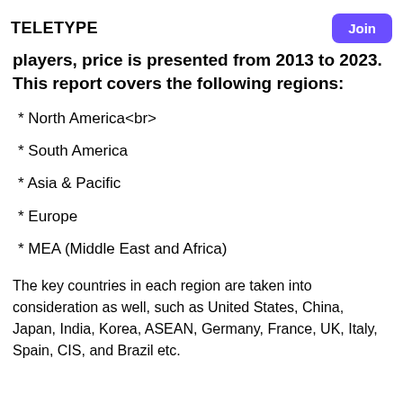teletype | Join
For geography segment, regional supply, application-wise, and type-wise demand, key players, price is presented from 2013 to 2023. This report covers the following regions:
* North America<br>
* South America
* Asia & Pacific
* Europe
* MEA (Middle East and Africa)
The key countries in each region are taken into consideration as well, such as United States, China, Japan, India, Korea, ASEAN, Germany, France, UK, Italy, Spain, CIS, and Brazil etc.